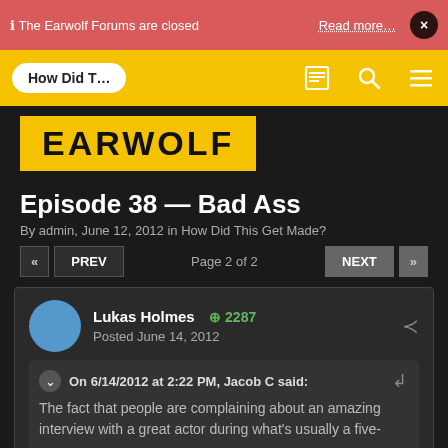ℹ The Earwolf Forums are closed  Read more…  ×
How Did T...
[Figure (logo): Earwolf logo on yellow background]
Episode 38 — Bad Ass
By admin, June 12, 2012 in How Did This Get Made?
« PREV  Page 2 of 2  NEXT »
Lukas Holmes  ⊕ 2287
Posted June 14, 2012
On 6/14/2012 at 2:22 PM, Jacob C said:
The fact that people are complaining about an amazing interview with a great actor during what's usually a five-